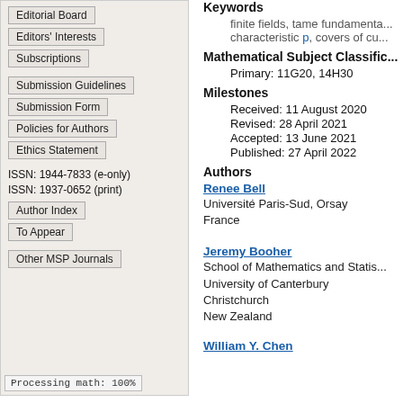Editorial Board
Editors' Interests
Subscriptions
Submission Guidelines
Submission Form
Policies for Authors
Ethics Statement
ISSN: 1944-7833 (e-only)
ISSN: 1937-0652 (print)
Author Index
To Appear
Other MSP Journals
Processing math: 100%
Keywords
finite fields, tame fundamenta... characteristic p, covers of cu...
Mathematical Subject Classific...
Primary: 11G20, 14H30
Milestones
Received: 11 August 2020
Revised: 28 April 2021
Accepted: 13 June 2021
Published: 27 April 2022
Authors
Renee Bell
Université Paris-Sud, Orsay
France
Jeremy Booher
School of Mathematics and Statistics
University of Canterbury
Christchurch
New Zealand
William Y. Chen